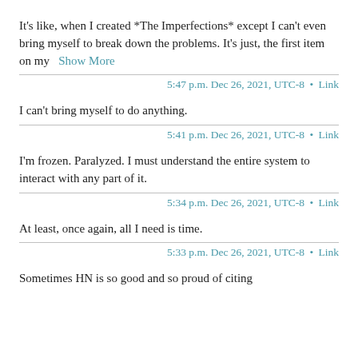It's like, when I created *The Imperfections* except I can't even bring myself to break down the problems. It's just, the first item on my   Show More
5:47 p.m. Dec 26, 2021, UTC-8 • Link
I can't bring myself to do anything.
5:41 p.m. Dec 26, 2021, UTC-8 • Link
I'm frozen. Paralyzed. I must understand the entire system to interact with any part of it.
5:34 p.m. Dec 26, 2021, UTC-8 • Link
At least, once again, all I need is time.
5:33 p.m. Dec 26, 2021, UTC-8 • Link
Sometimes HN is so good and so proud of citing